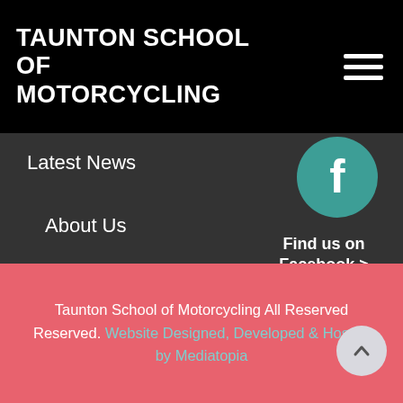TAUNTON SCHOOL OF MOTORCYCLING
Latest News
About Us
Testimonials
Contact Us
[Figure (logo): Facebook circular icon with white 'f' on teal/green background]
Find us on Facebook >
Taunton School of Motorcycling All Reserved Reserved. Website Designed, Developed & Hosted by Mediatopia